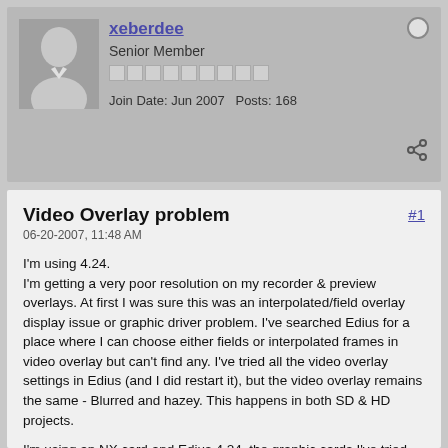xeberdee
Senior Member
Join Date: Jun 2007   Posts: 168
Video Overlay problem
#1
06-20-2007, 11:48 AM
I'm using 4.24.
I'm getting a very poor resolution on my recorder & preview overlays. At first I was sure this was an interpolated/field overlay display issue or graphic driver problem. I've searched Edius for a place where I can choose either fields or interpolated frames in video overlay but can't find any. I've tried all the video overlay settings in Edius (and I did restart it), but the video overlay remains the same - Blurred and hazey. This happens in both SD & HD projects.
I'm using an NX card and Edius 4.24, the graphic cards I've tried are X800 256MB, and an Nvidia FX3500 with 256MB now using the latest drivers for both (as using older versions didn't help). Graphic cards run at 1024x768 32bits 75Hz.
The files show full resolution in other players like MMP or